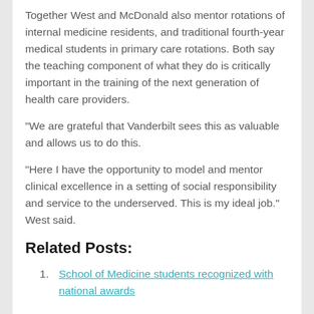Together West and McDonald also mentor rotations of internal medicine residents, and traditional fourth-year medical students in primary care rotations. Both say the teaching component of what they do is critically important in the training of the next generation of health care providers.
"We are grateful that Vanderbilt sees this as valuable and allows us to do this.
"Here I have the opportunity to model and mentor clinical excellence in a setting of social responsibility and service to the underserved. This is my ideal job." West said.
Related Posts:
School of Medicine students recognized with national awards